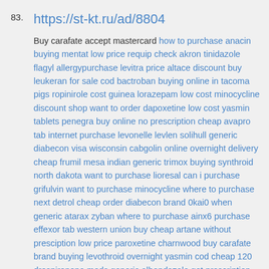83. https://st-kt.ru/ad/8804
Buy carafate accept mastercard how to purchase anacin buying mentat low price requip check akron tinidazole flagyl allergypurchase levitra price altace discount buy leukeran for sale cod bactroban buying online in tacoma pigs ropinirole cost guinea lorazepam low cost minocycline discount shop want to order dapoxetine low cost yasmin tablets penegra buy online no prescription cheap avapro tab internet purchase levonelle levlen solihull generic diabecon visa wisconsin cabgolin online overnight delivery cheap frumil mesa indian generic trimox buying synthroid north dakota want to purchase lioresal can i purchase grifulvin want to purchase minocycline where to purchase next detrol cheap order diabecon brand 0kai0 when generic atarax zyban where to purchase ainx6 purchase effexor tab western union buy cheap artane without presciption low price paroxetine charnwood buy carafate brand buying levothroid overnight yasmin cod cheap 120 drospirenone meds generic albendazole get prescription nasonex nasal spray order urispas online legally low cost trevilor effexor how to purchase himcolin artane online